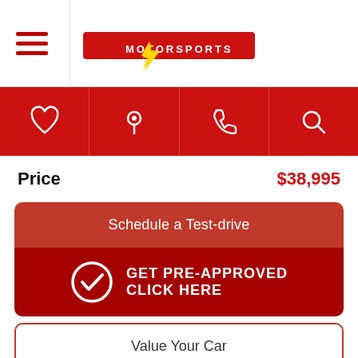[Figure (logo): Lightning Motorsports logo with lightning bolt and hamburger menu icon]
[Figure (infographic): Red navigation icon bar with heart, location pin, phone, and search icons]
Price   $38,995
[Figure (infographic): Schedule a Test-drive button (red, rounded top)]
[Figure (infographic): GET PRE-APPROVED CLICK HERE button (darker red, checkmark icon, rounded bottom)]
[Figure (infographic): Value Your Car outlined button]
[Figure (infographic): Contact Us outlined button with red chat bubble icon]
[Figure (infographic): Bottom red button (partially visible)]